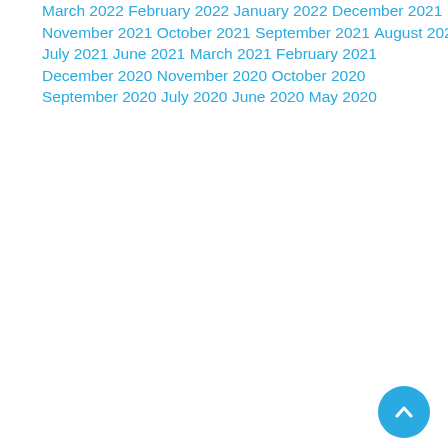March 2022
February 2022
January 2022
December 2021
November 2021
October 2021
September 2021
August 2021
July 2021
June 2021
March 2021
February 2021
December 2020
November 2020
October 2020
September 2020
July 2020
June 2020
May 2020